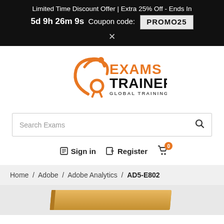Limited Time Discount Offer | Extra 25% Off - Ends In
5d 9h 26m 9s  Coupon code: PROMO25
×
[Figure (logo): Exams Trainer logo with orange figure and text 'EXAMS TRAINER GLOBAL TRAINING RESOURCE']
Search Exams
Sign in   Register   0
Home / Adobe / Adobe Analytics / AD5-E802
[Figure (photo): Partial view of an orange-colored book or study guide at the bottom of the page]